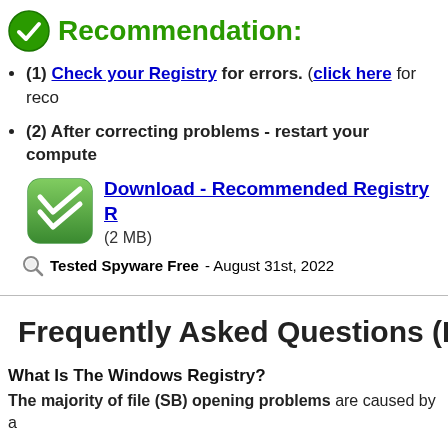Recommendation:
(1) Check your Registry for errors. (click here for reco
(2) After correcting problems - restart your compute
[Figure (logo): Green rounded square icon with white double-checkmark/V shape]
Download - Recommended Registry R (2 MB)
Tested Spyware Free - August 31st, 2022
Frequently Asked Questions (FAQ
What Is The Windows Registry?
The majority of file (SB) opening problems are caused by a